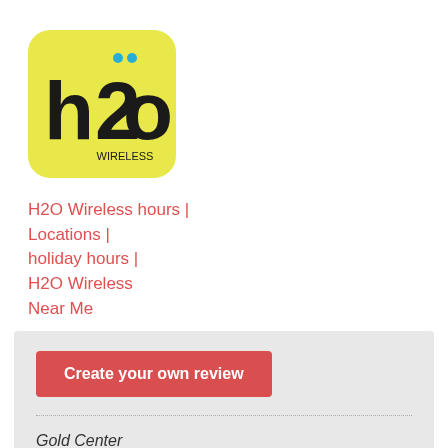[Figure (logo): H2O Wireless logo on yellow-green rounded square background with stylized h2o text and two blue dots above the 'o', with 'WIRELESS' in small text below]
H2O Wireless hours | Locations | holiday hours | H2O Wireless Near Me
Create your own review
Gold Center
Average rating: 0 reviews